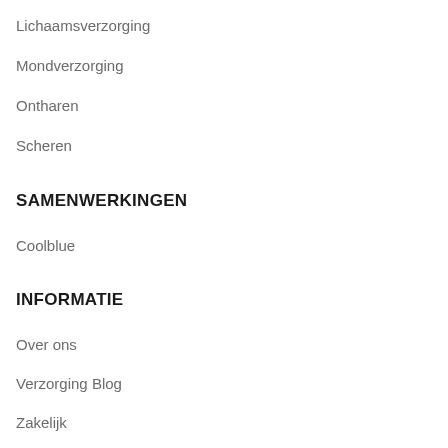Lichaamsverzorging
Mondverzorging
Ontharen
Scheren
SAMENWERKINGEN
Coolblue
INFORMATIE
Over ons
Verzorging Blog
Zakelijk
Adverteren